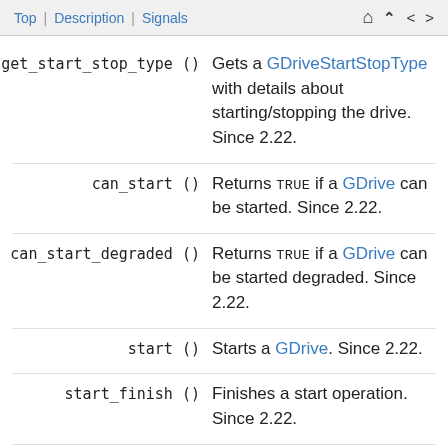Top | Description | Signals
get_start_stop_type () — Gets a GDriveStartStopType with details about starting/stopping the drive. Since 2.22.
can_start () — Returns TRUE if a GDrive can be started. Since 2.22.
can_start_degraded () — Returns TRUE if a GDrive can be started degraded. Since 2.22.
start () — Starts a GDrive. Since 2.22.
start_finish () — Finishes a start operation. Since 2.22.
can_stop () — Returns TRUE if a GDrive can be